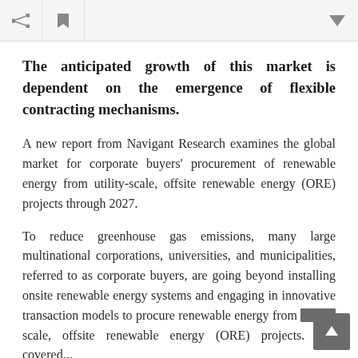[toolbar with share, flag, and dropdown icons]
The anticipated growth of this market is dependent on the emergence of flexible contracting mechanisms.
A new report from Navigant Research examines the global market for corporate buyers' procurement of renewable energy from utility-scale, offsite renewable energy (ORE) projects through 2027.
To reduce greenhouse gas emissions, many large multinational corporations, universities, and municipalities, referred to as corporate buyers, are going beyond installing onsite renewable energy systems and engaging in innovative transaction models to procure renewable energy from utility-scale, offsite renewable energy (ORE) projects. The covered...